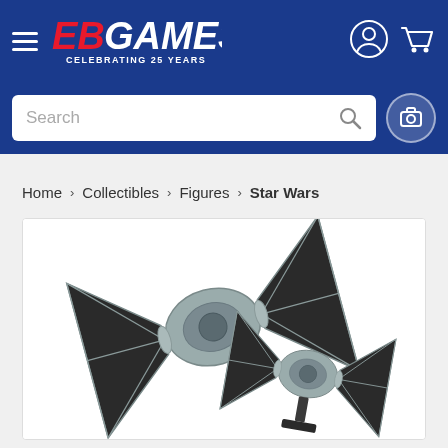EB Games - Celebrating 25 Years
Search
Home > Collectibles > Figures > Star Wars
[Figure (photo): Two Star Wars TIE Fighter collectible models on a black stand. The models are grey/silver with black hexagonal wing panels featuring the classic TIE Fighter X-shaped strut design. One model is positioned in the foreground and one in the background, displayed on a black display stand against a white background.]